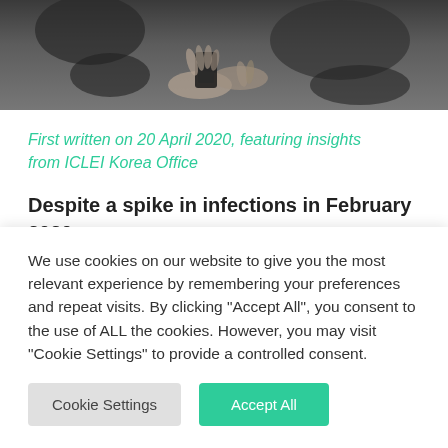[Figure (photo): Dark background photo showing people's hands, one person holding a smartphone, blurred close-up shot]
First written on 20 April 2020, featuring insights from ICLEI Korea Office
Despite a spike in infections in February 2020, South Korea has been praised globally for its success in containing the spread of the virus
We use cookies on our website to give you the most relevant experience by remembering your preferences and repeat visits. By clicking "Accept All", you consent to the use of ALL the cookies. However, you may visit "Cookie Settings" to provide a controlled consent.